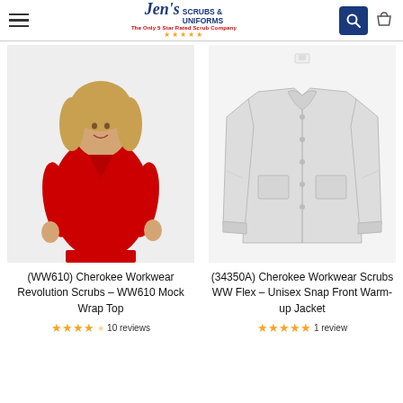Jen's Scrubs & Uniforms - The Only 5 Star Rated Scrub Company
[Figure (photo): Woman wearing a red v-neck mock wrap scrub top, Cherokee Workwear Revolution WW610]
(WW610) Cherokee Workwear Revolution Scrubs - WW610 Mock Wrap Top
★★★★ 10 reviews
[Figure (photo): White unisex snap front warm-up jacket displayed on invisible mannequin, Cherokee Workwear Scrubs WW Flex 34350A]
(34350A) Cherokee Workwear Scrubs WW Flex - Unisex Snap Front Warm-up Jacket
★★★★★ 1 review